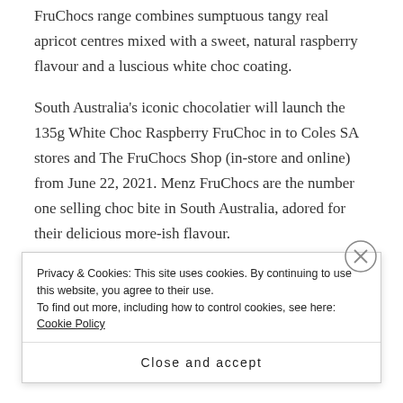FruChocs range combines sumptuous tangy real apricot centres mixed with a sweet, natural raspberry flavour and a luscious white choc coating.
South Australia's iconic chocolatier will launch the 135g White Choc Raspberry FruChoc in to Coles SA stores and The FruChocs Shop (in-store and online) from June 22, 2021. Menz FruChocs are the number one selling choc bite in South Australia, adored for their delicious more-ish flavour.
Phil Sims, CEO of Robern Menz comments,
Privacy & Cookies: This site uses cookies. By continuing to use this website, you agree to their use.
To find out more, including how to control cookies, see here: Cookie Policy
Close and accept